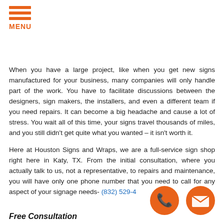MENU
When you have a large project, like when you get new signs manufactured for your business, many companies will only handle part of the work. You have to facilitate discussions between the designers, sign makers, the installers, and even a different team if you need repairs. It can become a big headache and cause a lot of stress. You wait all of this time, your signs travel thousands of miles, and you still didn't get quite what you wanted – it isn't worth it.
Here at Houston Signs and Wraps, we are a full-service sign shop right here in Katy, TX. From the initial consultation, where you actually talk to us, not a representative, to repairs and maintenance, you will have only one phone number that you need to call for any aspect of your signage needs- (832) 529-4
Free Consultation
[Figure (illustration): Orange circle with white phone handset icon (call button)]
[Figure (illustration): Orange circle with white envelope icon (email button)]